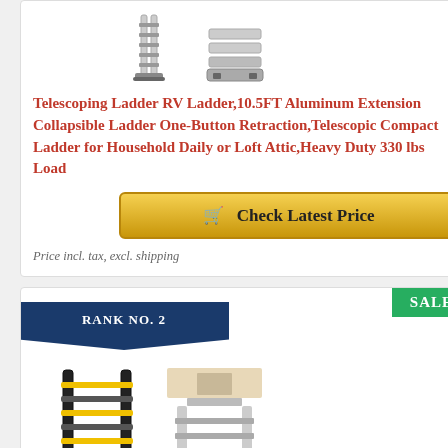[Figure (photo): Two product images of a telescoping/aluminum ladder at the top of the first card]
Telescoping Ladder RV Ladder,10.5FT Aluminum Extension Collapsible Ladder One-Button Retraction,Telescopic Compact Ladder for Household Daily or Loft Attic,Heavy Duty 330 lbs Load
Check Latest Price
Price incl. tax, excl. shipping
SALE
RANK NO. 2
[Figure (photo): Two product images of a telescoping ladder at the bottom card]